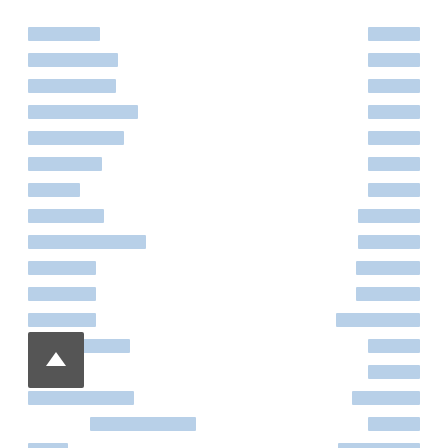[Figure (screenshot): A two-column list of redacted/obscured text entries rendered as blue-gray rectangular blocks, with a dark scroll-to-top button in the lower left. All text content is obscured with placeholder blocks in a light blue color.]